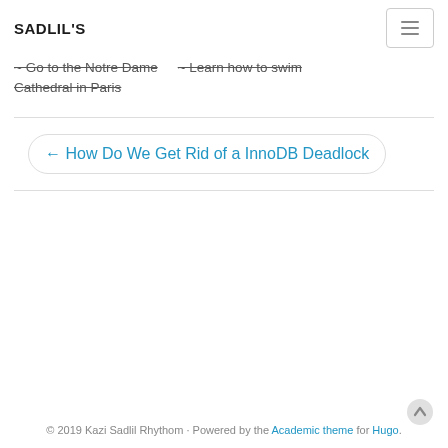SADLIL'S
~ Go to the Notre Dame Cathedral in Paris
~ Learn how to swim
← How Do We Get Rid of a InnoDB Deadlock
© 2019 Kazi Sadlil Rhythom · Powered by the Academic theme for Hugo.